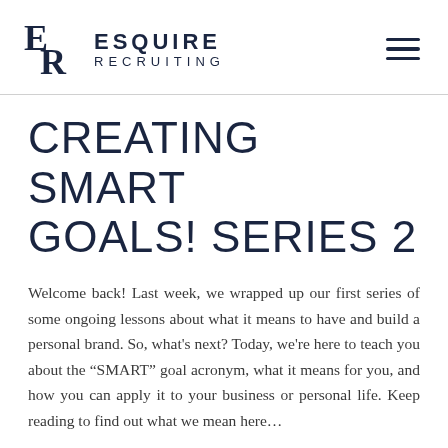ESQUIRE RECRUITING
CREATING SMART GOALS! SERIES 2
Welcome back! Last week, we wrapped up our first series of some ongoing lessons about what it means to have and build a personal brand. So, what's next? Today, we're here to teach you about the “SMART” goal acronym, what it means for you, and how you can apply it to your business or personal life. Keep reading to find out what we mean here…